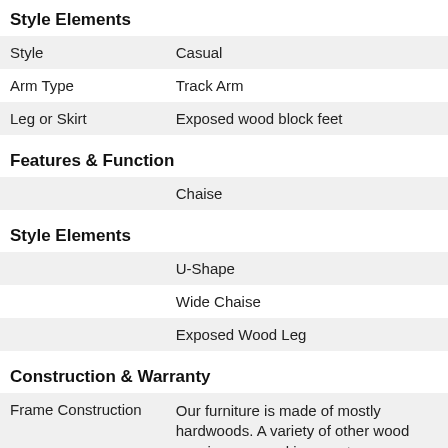Style Elements
| Style | Casual |
| Arm Type | Track Arm |
| Leg or Skirt | Exposed wood block feet |
Features & Function
|  | Chaise |
Style Elements
|  | U-Shape |
|  | Wide Chaise |
|  | Exposed Wood Leg |
Construction & Warranty
| Frame Construction | Our furniture is made of mostly hardwoods. A variety of other wood species are used in non-stress areas. To prevent the frame from warping, splitting or cracking over time, stress joints are reinforced with... |